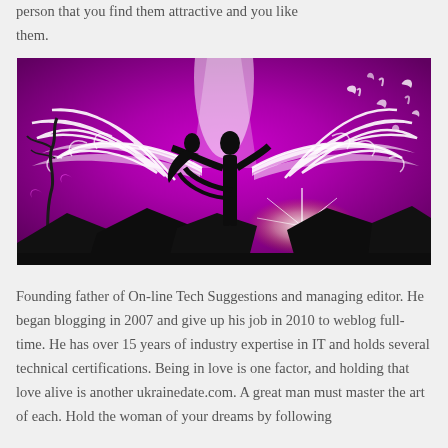person that you find them attractive and you like them.
[Figure (illustration): Romantic fantasy illustration: silhouette of a man holding a woman in his arms against a purple/magenta glowing background with large white angel wings spread behind them, star burst light at ground level, swirling feathers and decorative elements, dark mountain silhouettes at bottom.]
Founding father of On-line Tech Suggestions and managing editor. He began blogging in 2007 and give up his job in 2010 to weblog full-time. He has over 15 years of industry expertise in IT and holds several technical certifications. Being in love is one factor, and holding that love alive is another ukrainedate.com. A great man must master the art of each. Hold the woman of your dreams by following